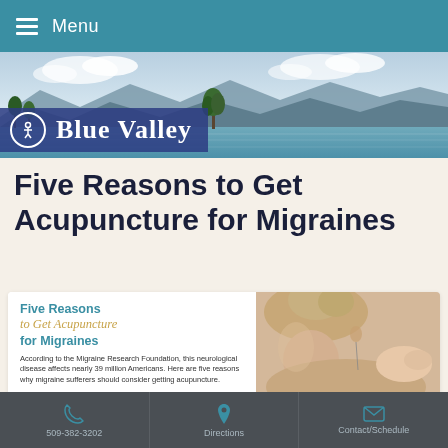Menu
[Figure (photo): Scenic landscape photo showing a lake with mountains, trees and blue sky — Blue Valley header image]
Blue Valley
Five Reasons to Get Acupuncture for Migraines
[Figure (infographic): Infographic card: Five Reasons to Get Acupuncture for Migraines, with text about Migraine Research Foundation stats and an image of a person receiving acupuncture treatment on their neck/shoulder]
509-382-3202  |  Directions  |  Contact/Schedule